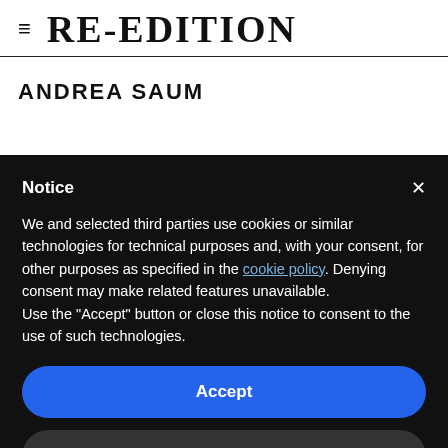RE-EDITION
ANDREA SAUM
Notice
We and selected third parties use cookies or similar technologies for technical purposes and, with your consent, for other purposes as specified in the cookie policy. Denying consent may make related features unavailable.
Use the "Accept" button or close this notice to consent to the use of such technologies.
Accept
Learn more and customize